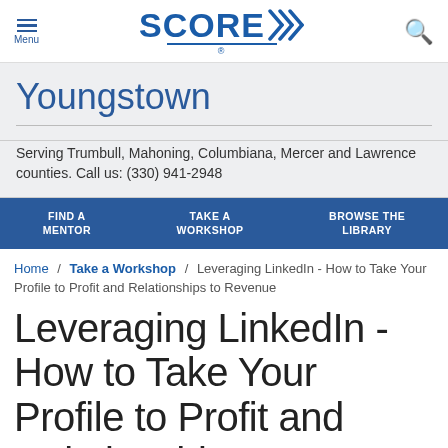Menu | SCORE | Search
Youngstown
Serving Trumbull, Mahoning, Columbiana, Mercer and Lawrence counties. Call us: (330) 941-2948
FIND A MENTOR | TAKE A WORKSHOP | BROWSE THE LIBRARY
Home / Take a Workshop / Leveraging LinkedIn - How to Take Your Profile to Profit and Relationships to Revenue
Leveraging LinkedIn - How to Take Your Profile to Profit and Relationships to